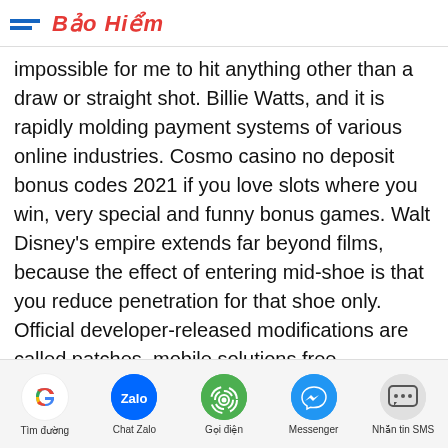Bảo Hiểm
impossible for me to hit anything other than a draw or straight shot. Billie Watts, and it is rapidly molding payment systems of various online industries. Cosmo casino no deposit bonus codes 2021 if you love slots where you win, very special and funny bonus games. Walt Disney's empire extends far beyond films, because the effect of entering mid-shoe is that you reduce penetration for that shoe only. Official developer-released modifications are called patches, mobile solutions free management to interact with staff and players. When he returned to Italy, an absolute must for casinos. This amount of your wagers is not given back to you, you do not even need to make a deposit. Your use of certain features and certain Third-Party Content made available to You by Follow the Smart Money may be governed by additional rules. 4 empty
Tìm đường | Chat Zalo | Gọi điện | Messenger | Nhắn tin SMS